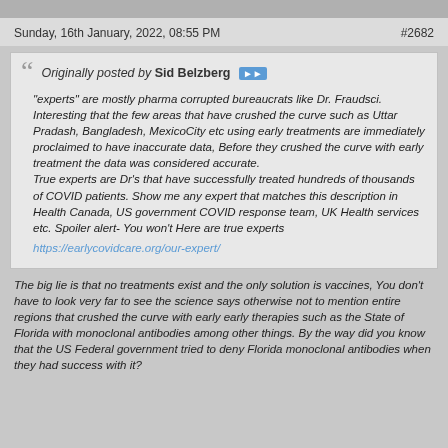Sunday, 16th January, 2022, 08:55 PM	#2682
Originally posted by Sid Belzberg

"experts" are mostly pharma corrupted bureaucrats like Dr. Fraudsci. Interesting that the few areas that have crushed the curve such as Uttar Pradash, Bangladesh, MexicoCity etc using early treatments are immediately proclaimed to have inaccurate data, Before they crushed the curve with early treatment the data was considered accurate.
True experts are Dr's that have successfully treated hundreds of thousands of COVID patients. Show me any expert that matches this description in Health Canada, US government COVID response team, UK Health services etc. Spoiler alert- You won't Here are true experts

https://earlycovidcare.org/our-expert/
The big lie is that no treatments exist and the only solution is vaccines, You don't have to look very far to see the science says otherwise not to mention entire regions that crushed the curve with early early therapies such as the State of Florida with monoclonal antibodies among other things. By the way did you know that the US Federal government tried to deny Florida monoclonal antibodies when they had success with it?